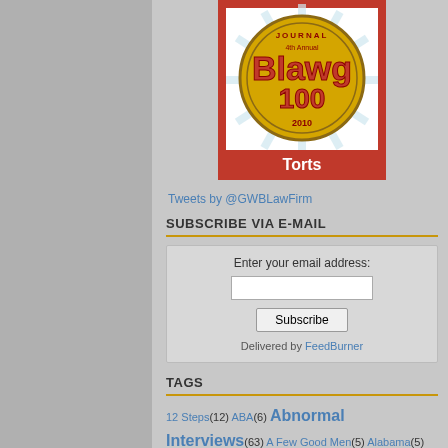[Figure (logo): ABA Journal 4th Annual Blawg 100 2010 badge with 'Torts' label at bottom, circular gold badge on red/white rays background]
Tweets by @GWBLawFirm
SUBSCRIBE VIA E-MAIL
Enter your email address:
[email input box]
Subscribe
Delivered by FeedBurner
TAGS
12 Steps(12) ABA(6) Abnormal Interviews(63) A Few Good Men(5) Alabama(5) Alteration(2) Alternative Design(1) Animals(1) Annual
[Figure (photo): Partial photo of a person in what appears to be an office or courtroom setting]
[CASTING THE FILM; T
DEDMAN: How did Ge become involved with the
CORT: . . . Gene was powerful character who p . We wanted someone w that's who those people their passions will have look at a lot of Hackma Conversation, you see a [who] will go to any len particular case, his daug